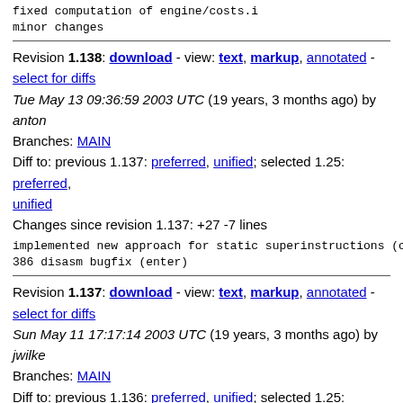fixed computation of engine/costs.i
minor changes
Revision 1.138: download - view: text, markup, annotated - select for diffs
Tue May 13 09:36:59 2003 UTC (19 years, 3 months ago) by anton
Branches: MAIN
Diff to: previous 1.137: preferred, unified; selected 1.25: preferred, unified
Changes since revision 1.137: +27 -7 lines
implemented new approach for static superinstructions (c...
386 disasm bugfix (enter)
Revision 1.137: download - view: text, markup, annotated - select for diffs
Sun May 11 17:17:14 2003 UTC (19 years, 3 months ago) by jwilke
Branches: MAIN
Diff to: previous 1.136: preferred, unified; selected 1.25: preferred, unified
Changes since revision 1.136: +3 -0 lines
cross: use sperate region for user-space
cross: allow no user-space at all